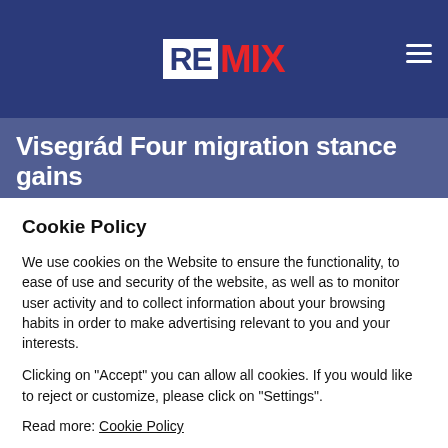REMIX
Visegrád Four migration stance gains
Cookie Policy
We use cookies on the Website to ensure the functionality, to ease of use and security of the website, as well as to monitor user activity and to collect information about your browsing habits in order to make advertising relevant to you and your interests.
Clicking on "Accept" you can allow all cookies. If you would like to reject or customize, please click on "Settings".
Read more: Cookie Policy
SETTINGS
ACCEPT